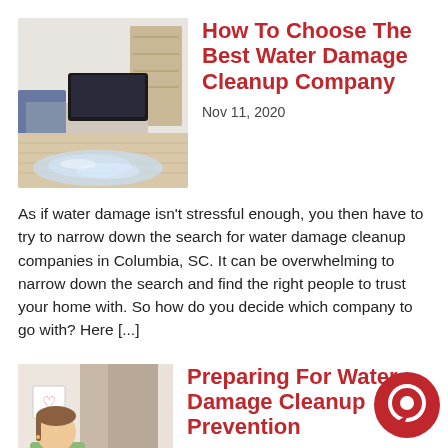[Figure (photo): Flooded living room with water pooling on hardwood floor, couch and TV visible in background]
How To Choose The Best Water Damage Cleanup Company
Nov 11, 2020
As if water damage isn't stressful enough, you then have to try to narrow down the search for water damage cleanup companies in Columbia, SC. It can be overwhelming to narrow down the search and find the right people to trust your home with. So how do you decide which company to go with? Here [...]
[Figure (photo): Woman with pink gloves cleaning, with curtains and a heart wall decoration in background]
Preparing For Water Damage Cleanup Prevention